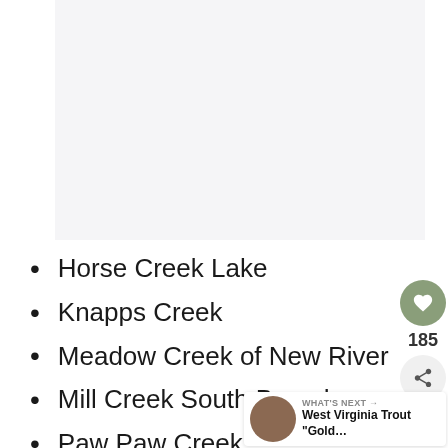[Figure (photo): Partial image area at top of page, light gray placeholder]
Horse Creek Lake
Knapps Creek
Meadow Creek of New River
Mill Creek South Branch
Paw Paw Creek